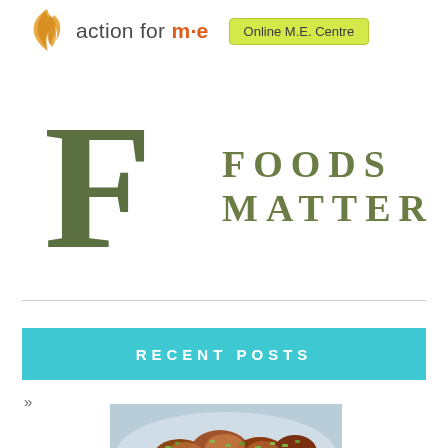[Figure (logo): Action for M.E. logo with stylized wheat/flame icon and 'Online M.E. Centre' badge]
[Figure (logo): Foods Matter logo — large decorative green F with 'FOODS MATTER' text in olive green spaced capitals]
RECENT POSTS
»
[Figure (photo): Food photograph showing a dish with glazed items topped with chopped green pistachios on a white plate]